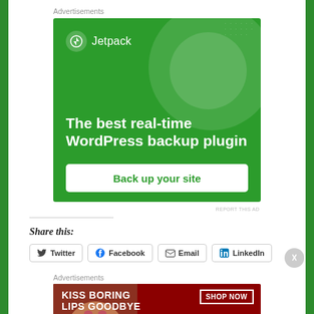Advertisements
[Figure (illustration): Jetpack advertisement banner on green background. Shows Jetpack logo with lightning bolt icon, text 'The best real-time WordPress backup plugin', and a 'Back up your site' call-to-action button.]
REPORT THIS AD
Share this:
Twitter
Facebook
Email
LinkedIn
Advertisements
[Figure (illustration): Macy's advertisement banner with dark red background. Shows a woman's face, text 'KISS BORING LIPS GOODBYE', 'SHOP NOW' button, and macy's logo with star.]